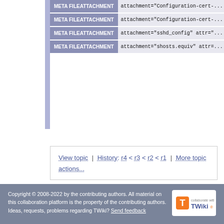| Key | Value |
| --- | --- |
| META FILEATTACHMENT | attachment="Configuration-cert-..." |
| META FILEATTACHMENT | attachment="Configuration-cert-..." |
| META FILEATTACHMENT | attachment="sshd_config" attr="..." |
| META FILEATTACHMENT | attachment="shosts.equiv" attr=... |
View topic | History: r4 < r3 < r2 < r1 | More topic actions...
Copyright © 2008-2022 by the contributing authors. All material on this collaboration platform is the property of the contributing authors. Ideas, requests, problems regarding TWiki? Send feedback